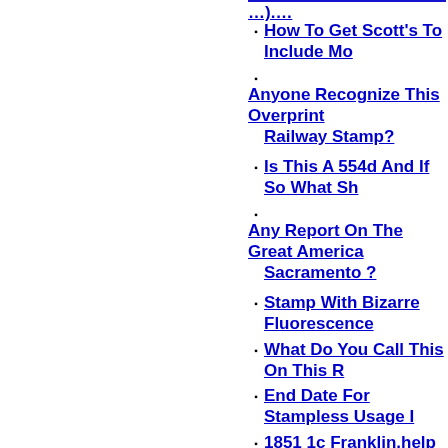How To Get Scott's To Include Mo...
Anyone Recognize This Overprint... Railway Stamp?
Is This A 554d And If So What Sh...
Any Report On The Great America... Sacramento ?
Stamp With Bizarre Fluorescence...
What Do You Call This On This R...
End Date For Stampless Usage I...
1851 1c Franklin.help Identifying ...
Las Vegas Stamp Show October?...
Help Identifying Stamp
Scott 114 Without Grill (?)
Qe 1935 Stamp With "line Throug...
Grill ID Question. We're New To T...
New Member From Winnipeg, Ma...
Horde Of Almost 100 USPS Phila...
Stamp King In Chicago...